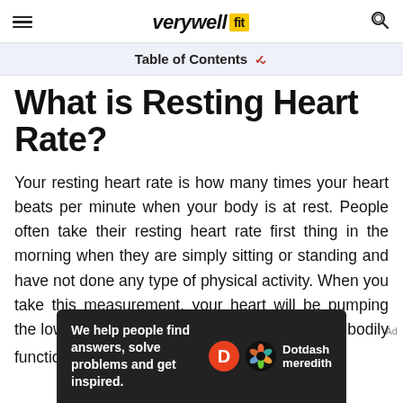verywell fit
Table of Contents
What is Resting Heart Rate?
Your resting heart rate is how many times your heart beats per minute when your body is at rest. People often take their resting heart rate first thing in the morning when they are simply sitting or standing and have not done any type of physical activity. When you take this measurement, your heart will be pumping the lowest amount of blood necessary for basic bodily function. [2]
[Figure (other): Dotdash Meredith advertisement banner: 'We help people find answers, solve problems and get inspired.']